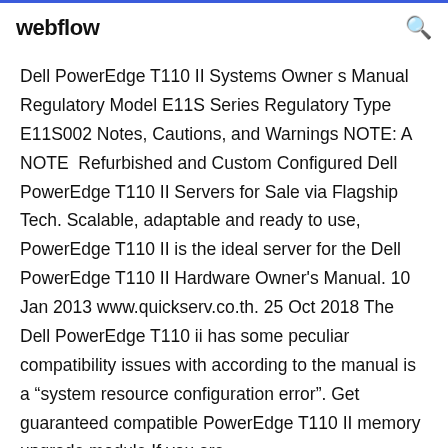webflow
Dell PowerEdge T110 II Systems Owner s Manual Regulatory Model E11S Series Regulatory Type E11S002 Notes, Cautions, and Warnings NOTE: A NOTE  Refurbished and Custom Configured Dell PowerEdge T110 II Servers for Sale via Flagship Tech. Scalable, adaptable and ready to use, PowerEdge T110 II is the ideal server for the Dell PowerEdge T110 II Hardware Owner's Manual. 10 Jan 2013 www.quickserv.co.th. 25 Oct 2018 The Dell PowerEdge T110 ii has some peculiar compatibility issues with according to the manual is a “system resource configuration error”. Get guaranteed compatible PowerEdge T110 II memory upgrade module If you are